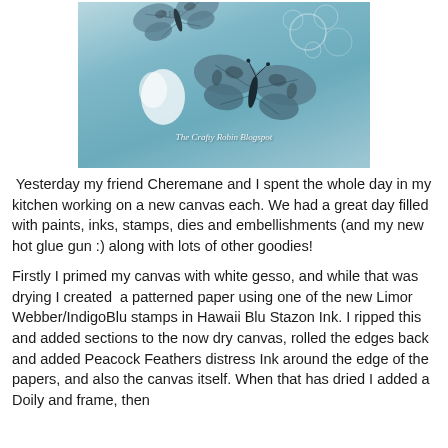[Figure (photo): A light blue canvas artwork with two decorative butterflies and lace embossing. Watermark reads 'The Crafty Robin Blogspot'. The word 'ART' is visible at the top.]
Yesterday my friend Cheremane and I spent the whole day in my kitchen working on a new canvas each. We had a great day filled with paints, inks, stamps, dies and embellishments (and my new hot glue gun :) along with lots of other goodies!
Firstly I primed my canvas with white gesso, and while that was drying I created  a patterned paper using one of the new Limor Webber/IndigoBlu stamps in Hawaii Blu Stazon Ink. I ripped this and added sections to the now dry canvas, rolled the edges back and added Peacock Feathers distress Ink around the edge of the papers, and also the canvas itself. When that has dried I added a Doily and frame, then